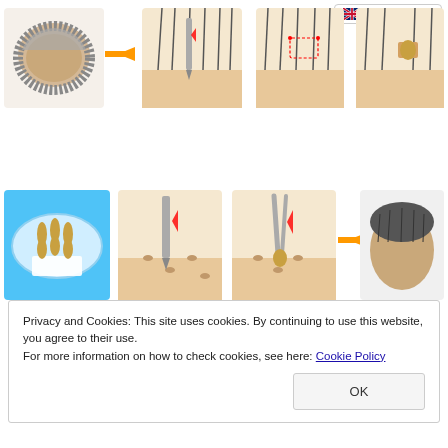[Figure (illustration): Hair transplant procedure steps illustration - top row showing bald head, needle extraction from scalp, scalp with markings, and scalp with graft]
[Figure (illustration): Hair transplant procedure steps illustration - bottom row showing hair follicle grafts in dish, needle making incisions, tool inserting graft, and result with full hair]
$200 off first 200-Reservation - Istanbul's Leader Hair Clic
Ad esthetichairturkey.com
Privacy and Cookies: This site uses cookies. By continuing to use this website, you agree to their use.
For more information on how to check cookies, see here: Cookie Policy
OK